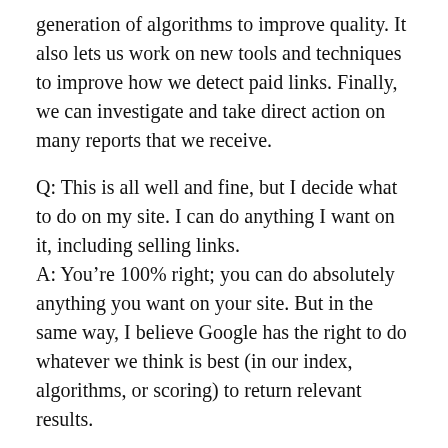generation of algorithms to improve quality. It also lets us work on new tools and techniques to improve how we detect paid links. Finally, we can investigate and take direct action on many reports that we receive.
Q: This is all well and fine, but I decide what to do on my site. I can do anything I want on it, including selling links.
A: You’re 100% right; you can do absolutely anything you want on your site. But in the same way, I believe Google has the right to do whatever we think is best (in our index, algorithms, or scoring) to return relevant results.
Q: It’s Google’s job to return clean/relevant results regardless of what people do on the web, so I don’t intend to send any feedback to Google.